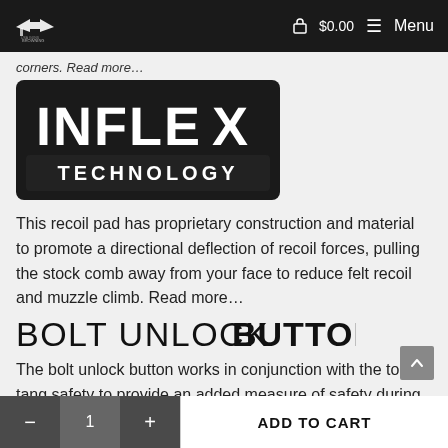$0.00  Menu
corners. Read more…
[Figure (logo): INFLEX TECHNOLOGY logo — bold stylized text on dark background]
This recoil pad has proprietary construction and material to promote a directional deflection of recoil forces, pulling the stock comb away from your face to reduce felt recoil and muzzle climb. Read more…
[Figure (logo): BOLT UNLOCK BUTTON heading text logo — mixed weight uppercase letters]
The bolt unlock button works in conjunction with the top-tang safety to provide an added measure of safety during checking
- 1 + ADD TO CART